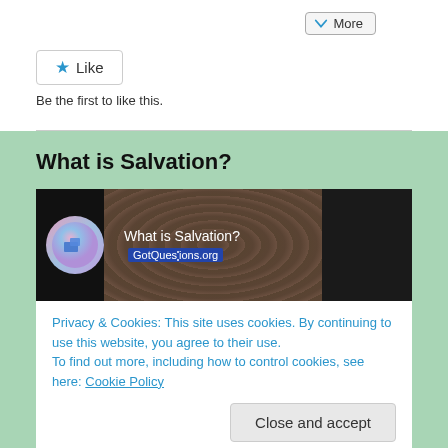[Figure (screenshot): More button in top right corner]
[Figure (screenshot): Like button with star icon]
Be the first to like this.
What is Salvation?
[Figure (screenshot): Video thumbnail: What is Salvation? GotQuestions.org]
Privacy & Cookies: This site uses cookies. By continuing to use this website, you agree to their use.
To find out more, including how to control cookies, see here: Cookie Policy
[Figure (screenshot): Close and accept button and video player controls showing 00:00 / 02:18]